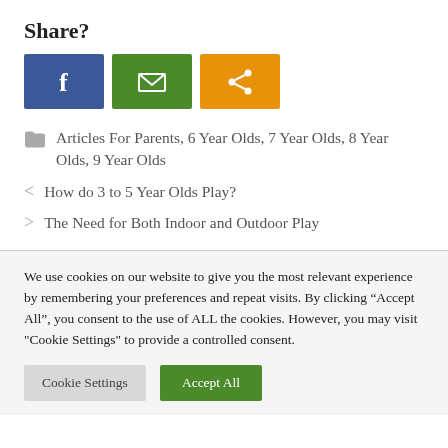Share?
[Figure (infographic): Three social share buttons: Facebook (blue, 'f' icon), Email (green, envelope icon), Share (orange, share icon)]
Articles For Parents, 6 Year Olds, 7 Year Olds, 8 Year Olds, 9 Year Olds
< How do 3 to 5 Year Olds Play?
> The Need for Both Indoor and Outdoor Play
We use cookies on our website to give you the most relevant experience by remembering your preferences and repeat visits. By clicking “Accept All”, you consent to the use of ALL the cookies. However, you may visit "Cookie Settings" to provide a controlled consent.